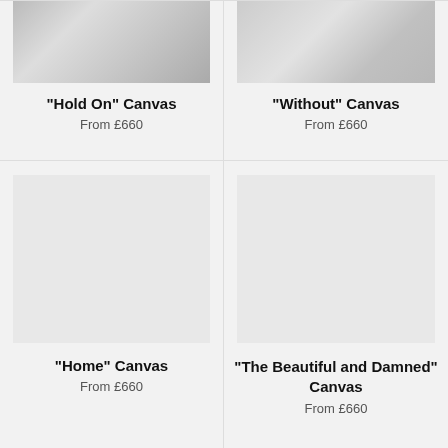[Figure (photo): Partial view of a pencil sketch artwork - Hold On Canvas]
"Hold On" Canvas
From £660
[Figure (photo): Partial view of a colorful artwork - Without Canvas]
"Without" Canvas
From £660
[Figure (photo): Blank/loading image placeholder - Home Canvas]
"Home" Canvas
From £660
[Figure (photo): Blank/loading image placeholder - The Beautiful and Damned Canvas]
"The Beautiful and Damned" Canvas
From £660